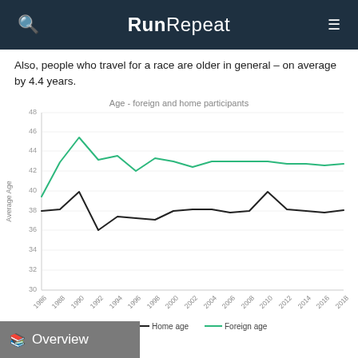RunRepeat
Also, people who travel for a race are older in general – on average by 4.4 years.
[Figure (line-chart): Age - foreign and home participants]